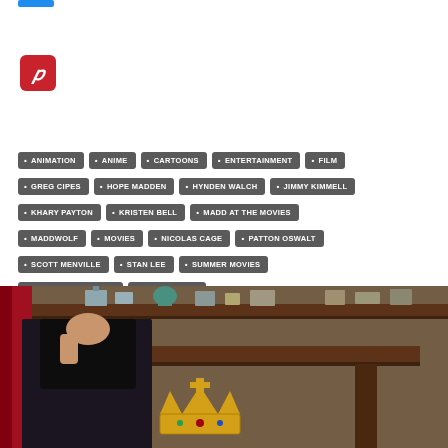[Figure (logo): Pinterest red icon with white italic P letter]
ANIMATION
ANIME
CARTOONS
ENTERTAINMENT
FILM
GREG CIPES
HOPE MADDEN
HYNDEN WALCH
JIMMY KIMMELL
KHARY PAYTON
KRISTEN BELL
MADD AT THE MOVIES
MADDWOLF
MOVIES
NICOLAS CAGE
PATTON OSWALT
SCOTT MENVILLE
STAN LEE
SUMMER MOVIES
SUPERHERO MOVIES
TARA STRONG
TEEN TITANS GO! TO THE MOVIES
WILL ARNETT
[Figure (photo): A person with long dark hair wearing dark clothing, behind a wooden desk/podium with shelves and decorative items in the background, with a large gold crown visible in the foreground]